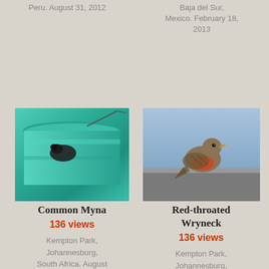Peru. August 31, 2012
Baja del Sur, Mexico. February 18, 2013
[Figure (photo): Common Myna bird on a green container]
Common Myna
136 views
Kempton Park, Johannesburg, South Africa. August 28, 2013
[Figure (photo): Red-throated Wryneck bird perched]
Red-throated Wryneck
136 views
Kempton Park, Johannesburg, South Africa. August 28, 2013